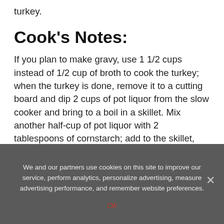turkey.
Cook's Notes:
If you plan to make gravy, use 1 1/2 cups instead of 1/2 cup of broth to cook the turkey; when the turkey is done, remove it to a cutting board and dip 2 cups of pot liquor from the slow cooker and bring to a boil in a skillet. Mix another half-cup of pot liquor with 2 tablespoons of cornstarch; add to the skillet, stirring until it incorporates and thickens. Taste gravy for seasoning. Meanwhile, using a slotted spoon, place the dressing in an ovenproof pan and bake it uncovered for 15 or 20
We and our partners use cookies on this site to improve our service, perform analytics, personalize advertising, measure advertising performance, and remember website preferences.
Ok